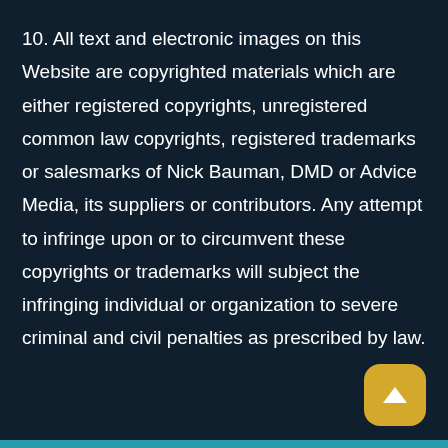10. All text and electronic images on this Website are copyrighted materials which are either registered copyrights, unregistered common law copyrights, registered trademarks or salesmarks of Nick Bauman, DMD or Advice Media, its suppliers or contributors. Any attempt to infringe upon or to circumvent these copyrights or trademarks will subject the infringing individual or organization to severe criminal and civil penalties as prescribed by law.
[Figure (illustration): Yellow rounded square button with a white upward-pointing triangle/arrow icon, positioned at bottom right corner.]